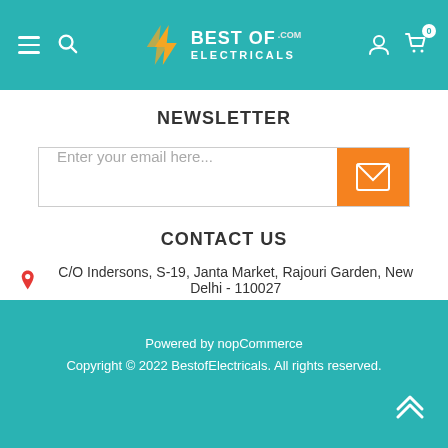Best Of Electricals .com header with hamburger menu, search, logo, user and cart icons
NEWSLETTER
Enter your email here...
CONTACT US
C/O Indersons, S-19, Janta Market, Rajouri Garden, New Delhi - 110027
sales@bestofelectricals.com
+91 88006 99154
Powered by nopCommerce
Copyright © 2022 BestofElectricals. All rights reserved.